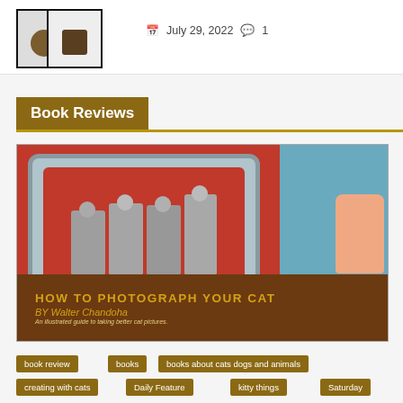[Figure (photo): Thumbnail images of cat artwork in frames, with date July 29, 2022 and comment count 1]
July 29, 2022  1
Book Reviews
[Figure (photo): Book cover of 'How to Photograph Your Cat' by Walter Chandoha showing four kittens on a television screen and a hand pressing a button]
book review
books
books about cats dogs and animals
creating with cats
Daily Feature
kitty things
Saturday
How to Photograph Your Cat,